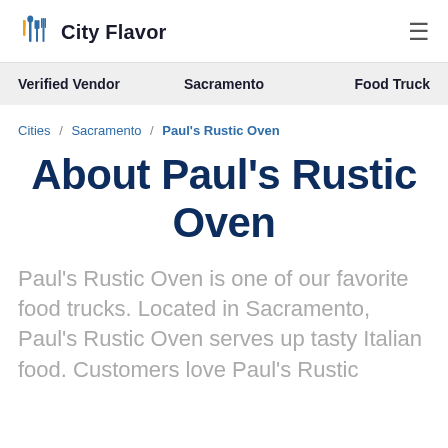City Flavor
Verified Vendor   Sacramento   Food Truck
Cities / Sacramento / Paul's Rustic Oven
About Paul's Rustic Oven
Paul's Rustic Oven is one of our favorite food trucks. Located in Sacramento, Paul's Rustic Oven serves up tasty Italian food. Customers love Paul's Rustic